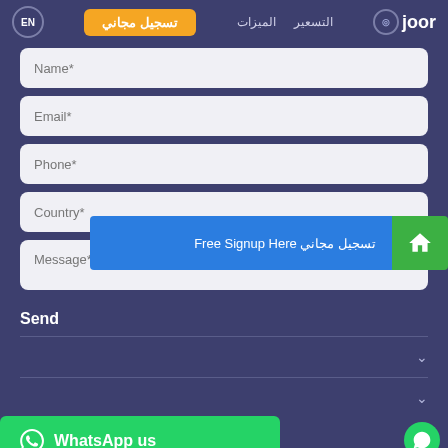[Figure (screenshot): Navigation bar with EN language selector, Arabic free signup button in orange, Arabic navigation links (الميزات, التسعير), and Joor logo]
Name*
Email*
Phone*
تسجيل مجاني Free Signup Here
Country*
Message*
Send
WhatsApp us